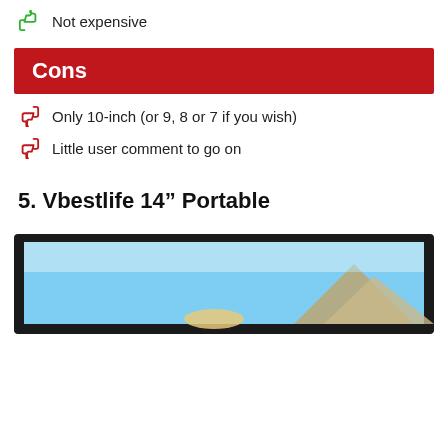Not expensive
Cons
Only 10-inch (or 9, 8 or 7 if you wish)
Little user comment to go on
5. Vbestlife 14” Portable
[Figure (photo): Partial image of a Vbestlife 14-inch portable monitor with a black frame, showing a blue sky scene with a mountain and a cat visible on screen.]